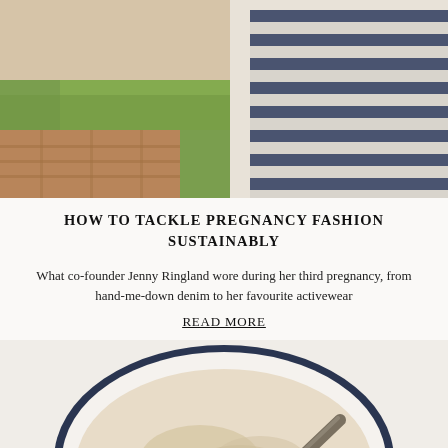[Figure (photo): Outdoor photo showing a person wearing a blue and white horizontal striped top, with green grass lawn and brick pavement in background]
HOW TO TACKLE PREGNANCY FASHION SUSTAINABLY
What co-founder Jenny Ringland wore during her third pregnancy, from hand-me-down denim to her favourite activewear
READ MORE
[Figure (photo): Top-down view of a white bowl with dark blue rim containing a beige powdery substance and a metal spoon resting in it, on a light background]